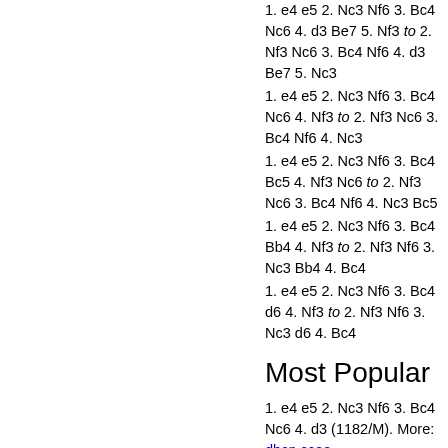1. e4 e5 2. Nc3 Nf6 3. Bc4 Nc6 4. d3 Be7 5. Nf3 to 2. Nf3 Nc6 3. Bc4 Nf6 4. d3 Be7 5. Nc3
1. e4 e5 2. Nc3 Nf6 3. Bc4 Nc6 4. Nf3 to 2. Nf3 Nc6 3. Bc4 Nf6 4. Nc3
1. e4 e5 2. Nc3 Nf6 3. Bc4 Bc5 4. Nf3 Nc6 to 2. Nf3 Nc6 3. Bc4 Nf6 4. Nc3 Bc5
1. e4 e5 2. Nc3 Nf6 3. Bc4 Bb4 4. Nf3 to 2. Nf3 Nf6 3. Nc3 Bb4 4. Bc4
1. e4 e5 2. Nc3 Nf6 3. Bc4 d6 4. Nf3 to 2. Nf3 Nf6 3. Nc3 d6 4. Bc4
Most Popular
1. e4 e5 2. Nc3 Nf6 3. Bc4 Nc6 4. d3 (1182/M). More: dbcn ccoe
1. e4 e5 2. Nc3 Nf6 3. Bc4 Nc6 (1066/M). More: dbcn ccoe
1. e4 e5 2. Nc3 Nf6 3. Bc4 Bc5 (517/M). More: dbcn ccoe
1. e4 e5 2. Nc3 Nf6 3. Bc4 (1459/M). More: dbcn ccoe
TCEC Games
1. e4 e5 2. Nc3 Nf6 3. Bc4 Nc6 4.